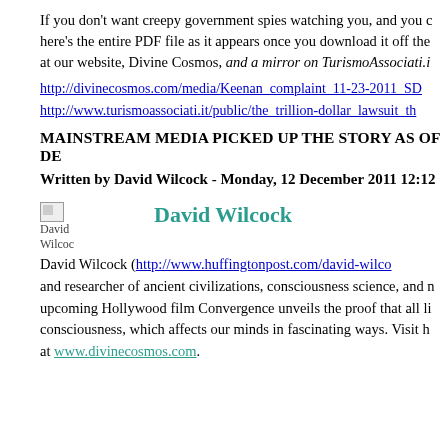If you don't want creepy government spies watching you, and you c here's the entire PDF file as it appears once you download it off the at our website, Divine Cosmos, and a mirror on TurismoAssociati.i
http://divinecosmos.com/media/Keenan_complaint_11-23-2011_SD
http://www.turismoassociati.it/public/the_trillion-dollar_lawsuit_th
MAINSTREAM MEDIA PICKED UP THE STORY AS OF DE
Written by David Wilcock - Monday, 12 December 2011 12:12
[Figure (photo): Broken image placeholder for David Wilcock photo, with caption 'David Wilcock' below]
David Wilcock  David Wilcock (http://www.huffingtonpost.com/david-wilco and researcher of ancient civilizations, consciousness science, and n upcoming Hollywood film Convergence unveils the proof that all li consciousness, which affects our minds in fascinating ways. Visit h at www.divinecosmos.com.